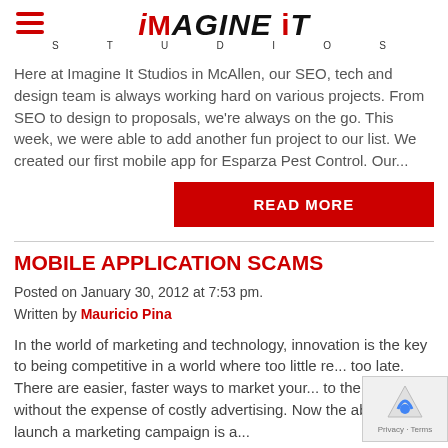iMAGINE iT STUDIOS
Here at Imagine It Studios in McAllen, our SEO, tech and design team is always working hard on various projects. From SEO to design to proposals, we're always on the go. This week, we were able to add another fun project to our list. We created our first mobile app for Esparza Pest Control. Our...
READ MORE
MOBILE APPLICATION SCAMS
Posted on January 30, 2012 at 7:53 pm.
Written by Mauricio Pina
In the world of marketing and technology, innovation is the key to being competitive in a world where too little re... too late. There are easier, faster ways to market your... to the masses without the expense of costly advertising. Now the ability to launch a marketing campaign is a...